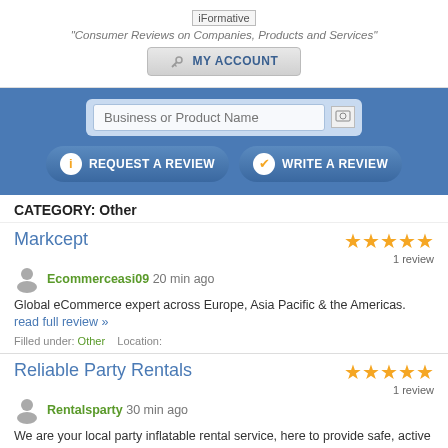[Figure (logo): iFormative logo image]
"Consumer Reviews on Companies, Products and Services"
MY ACCOUNT
Business or Product Name
REQUEST A REVIEW
WRITE A REVIEW
CATEGORY: Other
Markcept
Ecommerceasi09 20 min ago
Global eCommerce expert across Europe, Asia Pacific & the Americas. read full review »
Filled under: Other    Location:
Reliable Party Rentals
Rentalsparty 30 min ago
We are your local party inflatable rental service, here to provide safe, active